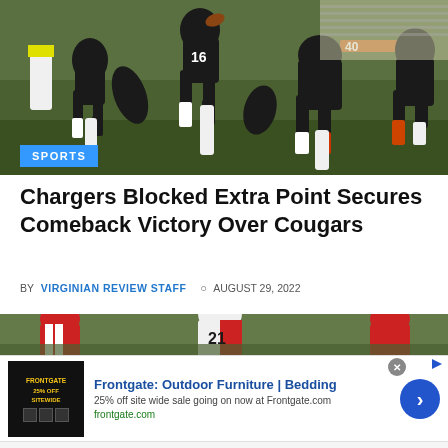[Figure (photo): Football players in black uniforms running on a grass field during a game]
SPORTS
Chargers Blocked Extra Point Secures Comeback Victory Over Cougars
BY VIRGINIAN REVIEW STAFF  ○ AUGUST 29, 2022
[Figure (photo): Football players in red and white uniforms on a grass field]
Frontgate: Outdoor Furniture | Bedding
25% off site wide sale going on now at Frontgate.com
frontgate.com